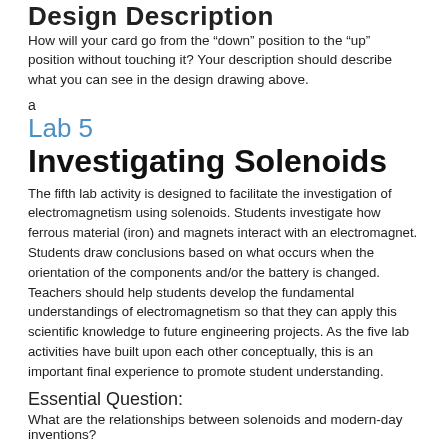Design Description
How will your card go from the “down” position to the “up” position without touching it? Your description should describe what you can see in the design drawing above.
a
Lab 5
Investigating Solenoids
The fifth lab activity is designed to facilitate the investigation of electromagnetism using solenoids. Students investigate how ferrous material (iron) and magnets interact with an electromagnet. Students draw conclusions based on what occurs when the orientation of the components and/or the battery is changed. Teachers should help students develop the fundamental understandings of electromagnetism so that they can apply this scientific knowledge to future engineering projects. As the five lab activities have built upon each other conceptually, this is an important final experience to promote student understanding.
Essential Question:
What are the relationships between solenoids and modern-day inventions?
Step 1